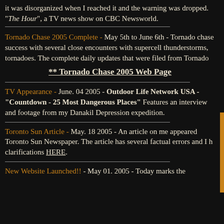it was disorganized when I reached it and the warning was dropped. "The Hour", a TV news show on CBC Newsworld.
Tornado Chase 2005 Complete - May 5th to June 6th - Tornado chase success with several close encounters with supercell thunderstorms, tornadoes. The complete daily updates that were filed from Tornado
** Tornado Chase 2005 Web Page
TV Appearance - June. 04 2005 - Outdoor Life Network USA - "Countdown - 25 Most Dangerous Places" Features an interview and footage from my Danakil Depression expedition.
Toronto Sun Article - May. 18 2005 - An article on me appeared Toronto Sun Newspaper. The article has several factual errors and I have clarifications HERE.
New Website Launched!! - May 01. 2005 - Today marks the